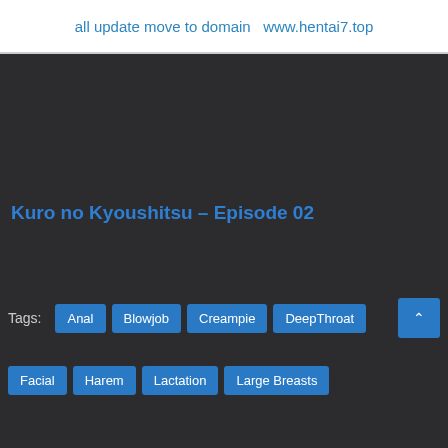all update move to domain  www.hentai7.top
Kuro no Kyoushitsu – Episode 02
Tags:
Anal
Blowjob
Creampie
DeepThroat
Facial
Harem
Lactation
Large Breasts